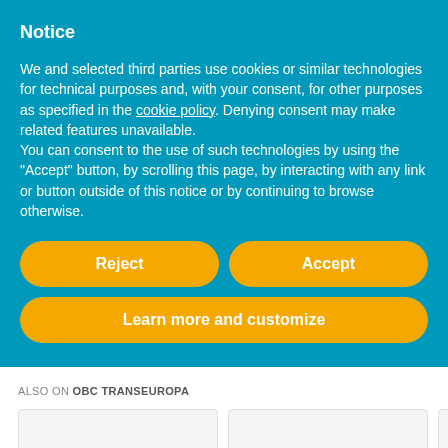Notice
We and selected third parties use cookies or similar technologies for technical purposes and, with your consent, for other purposes as specified in the cookie policy. Denying consent may make related features unavailable.
You can consent to the use of such technologies by using the "Accept" button, by scrolling this page, by interacting with any link or button outside of this notice or by continuing to browse otherwise.
Reject
Accept
Learn more and customize
ALSO ON OBC TRANSEUROPA